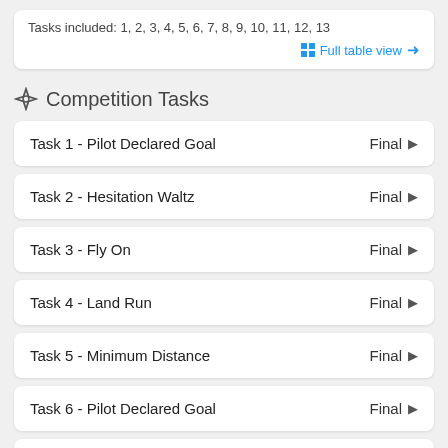Tasks included: 1, 2, 3, 4, 5, 6, 7, 8, 9, 10, 11, 12, 13
Full table view →
Competition Tasks
Task 1 - Pilot Declared Goal    Final ▶
Task 2 - Hesitation Waltz    Final ▶
Task 3 - Fly On    Final ▶
Task 4 - Land Run    Final ▶
Task 5 - Minimum Distance    Final ▶
Task 6 - Pilot Declared Goal    Final ▶
Task 7 - Judge Declared Goal    Final ▶